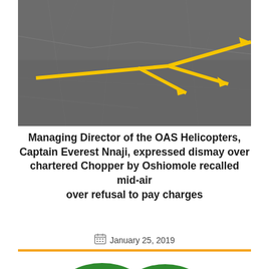[Figure (photo): Aerial view of a helipad or tarmac surface with yellow directional arrows painted on grey concrete]
Managing Director of the OAS Helicopters, Captain Everest Nnaji, expressed dismay over chartered Chopper by Oshiomole recalled mid-air over refusal to pay charges
January 25, 2019
[Figure (logo): Green and white logo with orange accent, appears to be a news or media outlet logo]